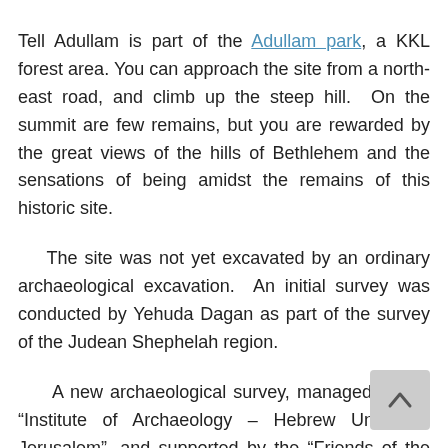Tell Adullam is part of the Adullam park, a KKL forest area. You can approach the site from a north-east road, and climb up the steep hill. On the summit are few remains, but you are rewarded by the great views of the hills of Bethlehem and the sensations of being amidst the remains of this historic site.
The site was not yet excavated by an ordinary archaeological excavation. An initial survey was conducted by Yehuda Dagan as part of the survey of the Judean Shephelah region.
A new archaeological survey, managed by the “Institute of Archaeology – Hebrew University Jerusalem”, and supported by the “Friends of the Institute of Archaeology”, started in 2015.